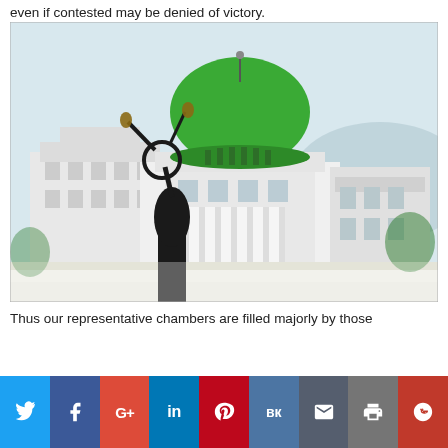even if contested may be denied of victory.
[Figure (photo): Nigerian National Assembly building with its distinctive green dome, and a statue of a figure holding a scale in the foreground.]
Thus our representative chambers are filled majorly by those
Twitter | Facebook | Google+ | LinkedIn | Pinterest | VK | Email | Print | Reddit